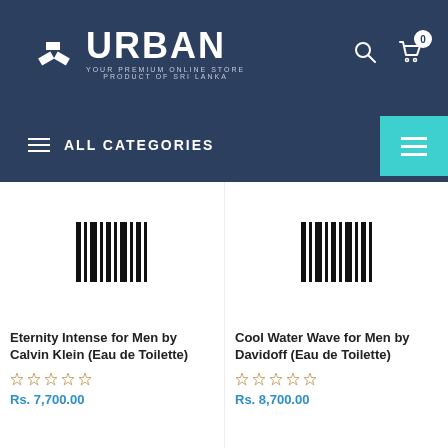URBAN — YOUR PREMIUM ONLINE STORE PRODUCT OF SRI LANKA
ALL CATEGORIES
[Figure (illustration): Product image placeholder with barcode lines for Eternity Intense for Men by Calvin Klein]
Eternity Intense for Men by Calvin Klein (Eau de Toilette)
Rs. 7,700.00
[Figure (illustration): Product image placeholder with barcode lines for Cool Water Wave for Men by Davidoff]
Cool Water Wave for Men by Davidoff (Eau de Toilette)
Rs. 8,700.00